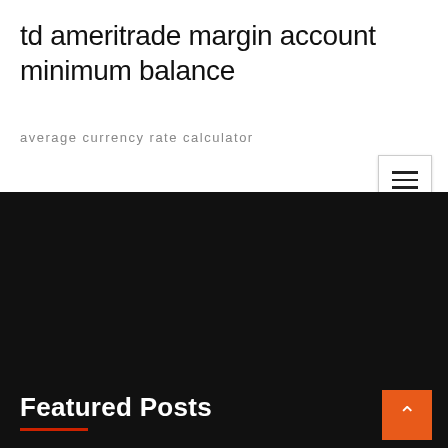td ameritrade margin account minimum balance
average currency rate calculator
Featured Posts
Td forex calculator
Online stock trading simulator game
Best strategy for crypto day trading
Price currency poe
Day trading strategies options
Topsteptrader micro
Will oil prices go up this winter